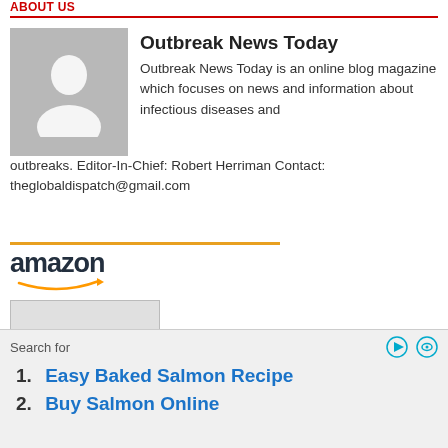[Figure (other): Outbreak News Today author profile block with avatar placeholder image, name 'Outbreak News Today', and bio text]
Outbreak News Today is an online blog magazine which focuses on news and information about infectious diseases and outbreaks. Editor-In-Chief: Robert Herriman Contact: theglobaldispatch@gmail.com
[Figure (other): Amazon affiliate ad showing book 'Animal Viruses and Humans, a...' priced at $12.49 with Prime badge]
Animal Viruses and Humans, a...
$12.49
Search for
1. Easy Baked Salmon Recipe
2. Buy Salmon Online